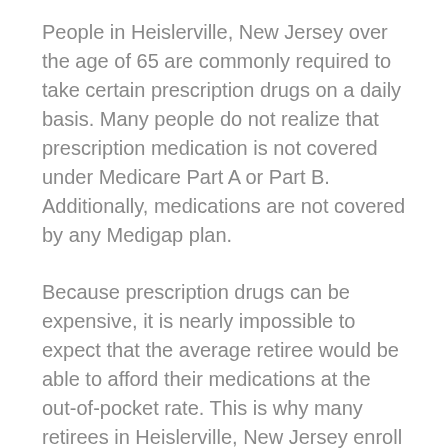People in Heislerville, New Jersey over the age of 65 are commonly required to take certain prescription drugs on a daily basis. Many people do not realize that prescription medication is not covered under Medicare Part A or Part B. Additionally, medications are not covered by any Medigap plan.
Because prescription drugs can be expensive, it is nearly impossible to expect that the average retiree would be able to afford their medications at the out-of-pocket rate. This is why many retirees in Heislerville, New Jersey enroll in Part D Medicare which specifically includes a prescription drug plan.
Before you enroll in a Part D plan, review which plan covers the medication that you need. Our